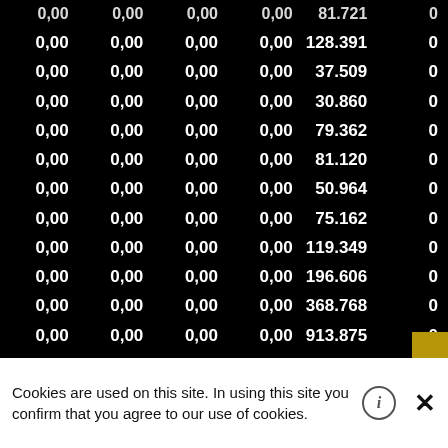| Col1 | Col2 | Col3 | Col4 | Col5 | Col6 |
| --- | --- | --- | --- | --- | --- |
| 0,00 | 0,00 | 0,00 | 0,00 | 81.721 | 0 |
| 0,00 | 0,00 | 0,00 | 0,00 | 128.391 | 0 |
| 0,00 | 0,00 | 0,00 | 0,00 | 37.509 | 0 |
| 0,00 | 0,00 | 0,00 | 0,00 | 30.860 | 0 |
| 0,00 | 0,00 | 0,00 | 0,00 | 79.362 | 0 |
| 0,00 | 0,00 | 0,00 | 0,00 | 81.120 | 0 |
| 0,00 | 0,00 | 0,00 | 0,00 | 50.964 | 0 |
| 0,00 | 0,00 | 0,00 | 0,00 | 75.162 | 0 |
| 0,00 | 0,00 | 0,00 | 0,00 | 119.349 | 0 |
| 0,00 | 0,00 | 0,00 | 0,00 | 196.606 | 0 |
| 0,00 | 0,00 | 0,00 | 0,00 | 368.768 | 0 |
| 0,00 | 0,00 | 0,00 | 0,00 | 913.875 | 0 |
| 0,00 | 0,00 | 0,00 | 0,00 | 302.254 | 0 |
| 0,00 | 0,00 | 0,00 | 0,00 | 200.347 | 0 |
| 0,00 | 0,00 | 0,00 | 0,00 | 41.505 | 0 |
| 0,00 | 0,00 | 0,00 | 0,00 | 43.469 | 0 |
| 0,00 | 0,00 | 0,00 | 0,00 | 27.836 | 0 |
| 0,00 | 0,00 | 0,00 | 0,00 | 22.433 | 0 |
Cookies are used on this site. In using this site you confirm that you agree to our use of cookies.